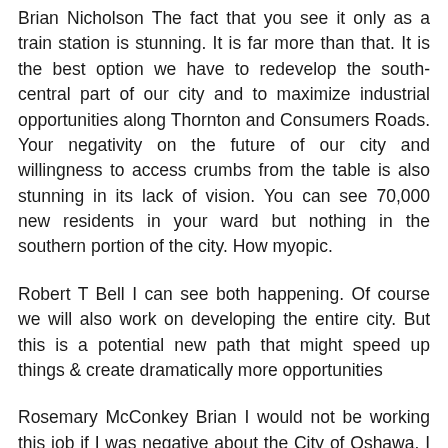Brian Nicholson The fact that you see it only as a train station is stunning. It is far more than that. It is the best option we have to redevelop the south-central part of our city and to maximize industrial opportunities along Thornton and Consumers Roads. Your negativity on the future of our city and willingness to access crumbs from the table is also stunning in its lack of vision. You can see 70,000 new residents in your ward but nothing in the southern portion of the city. How myopic.
Robert T Bell I can see both happening. Of course we will also work on developing the entire city. But this is a potential new path that might speed up things & create dramatically more opportunities
Rosemary McConkey Brian I would not be working this job if I was negative about the City of Oshawa. I took it to see improvements made. The fact is the